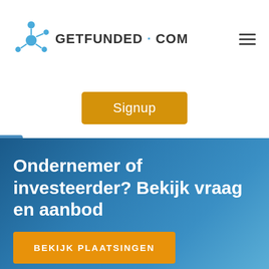[Figure (logo): GetFunded.com logo with blue network/molecule icon and text 'GETFUNDED · COM']
[Figure (other): Hamburger menu icon (three horizontal lines)]
Signup
Ondernemer of investeerder? Bekijk vraag en aanbod
BEKIJK PLAATSINGEN